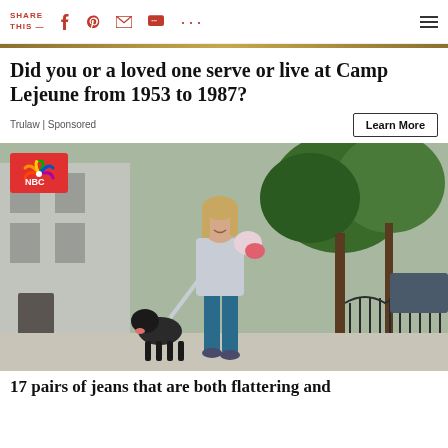SHARE THIS —
Did you or a loved one serve or live at Camp Lejeune from 1953 to 1987?
Trulaw | Sponsored
[Figure (photo): Woman walking a black dog on a city sidewalk, carrying flowers, with trees and iron fence in background. NBC logo overlay in top left corner.]
17 pairs of jeans that are both flattering and